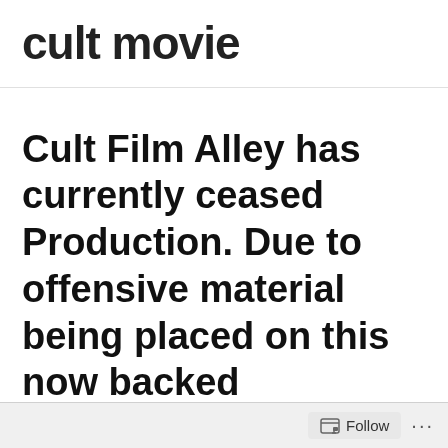cult movie
Cult Film Alley has currently ceased Production. Due to offensive material being placed on this now backed
Follow ...